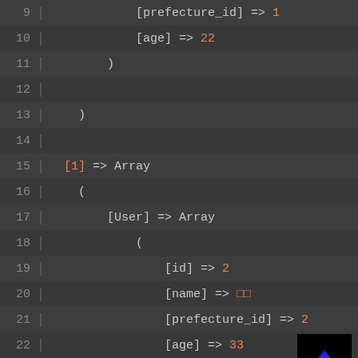[Figure (screenshot): Code editor screenshot showing PHP array dump output, lines 9-28, dark theme with orange-highlighted values and line numbers.]